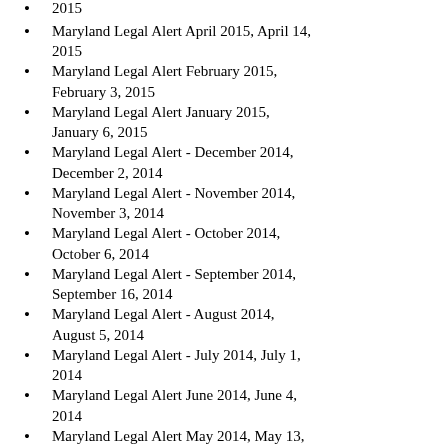2015
Maryland Legal Alert April 2015, April 14, 2015
Maryland Legal Alert February 2015, February 3, 2015
Maryland Legal Alert January 2015, January 6, 2015
Maryland Legal Alert - December 2014, December 2, 2014
Maryland Legal Alert - November 2014, November 3, 2014
Maryland Legal Alert - October 2014, October 6, 2014
Maryland Legal Alert - September 2014, September 16, 2014
Maryland Legal Alert - August 2014, August 5, 2014
Maryland Legal Alert - July 2014, July 1, 2014
Maryland Legal Alert June 2014, June 4, 2014
Maryland Legal Alert May 2014, May 13, 2014
Maryland Legal Alert April 2014, April 8, 2014